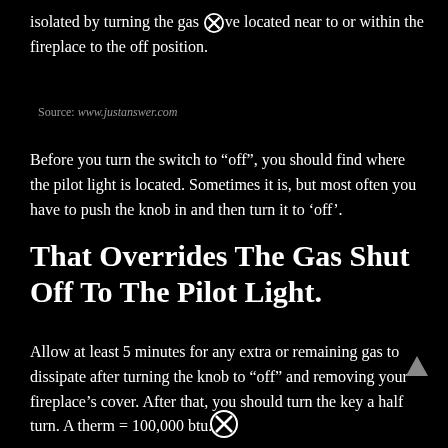isolated by turning the gas valve located near to or within the fireplace to the off position.
Source: www.justanswer.com
Before you turn the switch to "off", you should find where the pilot light is located. Sometimes it is, but most often you have to push the knob in and then turn it to 'off'.
That Overrides The Gas Shut Off To The Pilot Light.
Allow at least 5 minutes for any extra or remaining gas to dissipate after turning the knob to “off” and removing your fireplace’s cover. After that, you should turn the key a half turn. A therm = 100,000 btu.